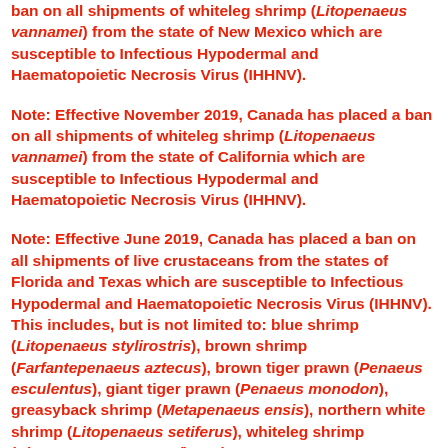ban on all shipments of whiteleg shrimp (Litopenaeus vannamei) from the state of New Mexico which are susceptible to Infectious Hypodermal and Haematopoietic Necrosis Virus (IHHNV).
Note: Effective November 2019, Canada has placed a ban on all shipments of whiteleg shrimp (Litopenaeus vannamei) from the state of California which are susceptible to Infectious Hypodermal and Haematopoietic Necrosis Virus (IHHNV).
Note: Effective June 2019, Canada has placed a ban on all shipments of live crustaceans from the states of Florida and Texas which are susceptible to Infectious Hypodermal and Haematopoietic Necrosis Virus (IHHNV). This includes, but is not limited to: blue shrimp (Litopenaeus stylirostris), brown shrimp (Farfantepenaeus aztecus), brown tiger prawn (Penaeus esculentus), giant tiger prawn (Penaeus monodon), greasyback shrimp (Metapenaeus ensis), northern white shrimp (Litopenaeus setiferus), whiteleg shrimp (Litopenaeus vannamei), and